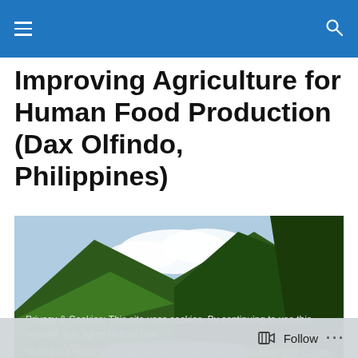Navigation bar with menu and search icons
Improving Agriculture for Human Food Production (Dax Olfindo, Philippines)
[Figure (photo): Scenic photo of a river valley with lush green vegetation and mountains in the background, Philippines landscape]
Privacy & Cookies: This site uses cookies. By continuing to use this website, you agree to their use.
To find out more, including how to control cookies, see here: Our Cookie Policy
Close and accept
Follow